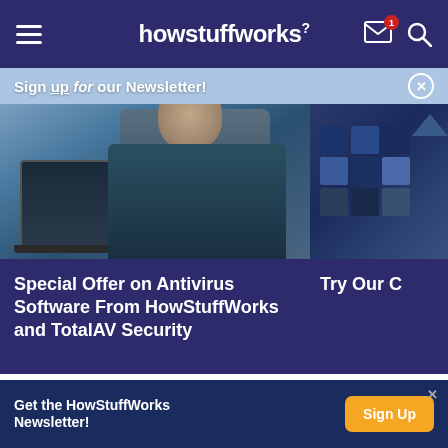howstuffworks
Sign up for our Newsletter!
[Figure (photo): Woman with face mask looking at laptop, HowStuffWorks promotional card]
Special Offer on Antivirus Software From HowStuffWorks and TotalAV Security
Try Our C
Advertisement
Get the HowStuffWorks Newsletter!
Sign Up